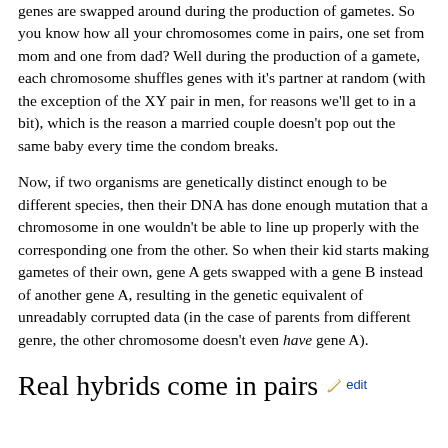genes are swapped around during the production of gametes. So you know how all your chromosomes come in pairs, one set from mom and one from dad? Well during the production of a gamete, each chromosome shuffles genes with it's partner at random (with the exception of the XY pair in men, for reasons we'll get to in a bit), which is the reason a married couple doesn't pop out the same baby every time the condom breaks.
Now, if two organisms are genetically distinct enough to be different species, then their DNA has done enough mutation that a chromosome in one wouldn't be able to line up properly with the corresponding one from the other. So when their kid starts making gametes of their own, gene A gets swapped with a gene B instead of another gene A, resulting in the genetic equivalent of unreadably corrupted data (in the case of parents from different genre, the other chromosome doesn't even have gene A).
Real hybrids come in pairs